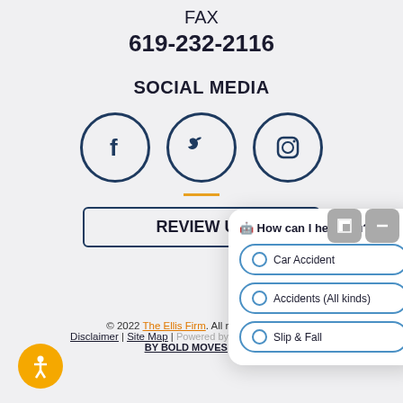FAX
619-232-2116
SOCIAL MEDIA
[Figure (illustration): Three social media icons in circles: Facebook (f), Twitter (bird), Instagram (camera outline), with navy blue borders]
[Figure (illustration): Orange horizontal divider line]
[Figure (screenshot): Chat widget overlay showing 'How can I help you?' with options: Car Accident, Accidents (All kinds), Slip & Fall]
REVIEW US
© 2022 The Ellis Firm. All rights reserved. Disclaimer | Site Map | Powered by DIGITAL MARKETING BY BOLD MOVES
[Figure (illustration): Accessibility button: orange circle with person icon]